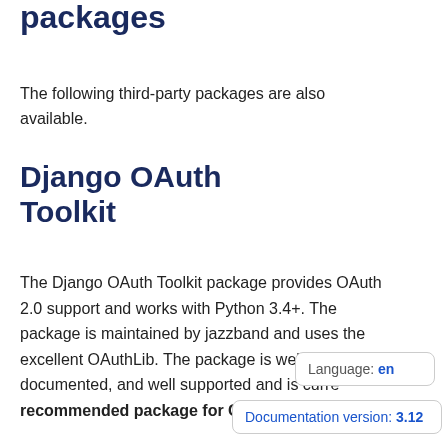packages
The following third-party packages are also available.
Django OAuth Toolkit
The Django OAuth Toolkit package provides OAuth 2.0 support and works with Python 3.4+. The package is maintained by jazzband and uses the excellent OAuthLib. The package is well documented, and well supported and is curre recommended package for OAuth